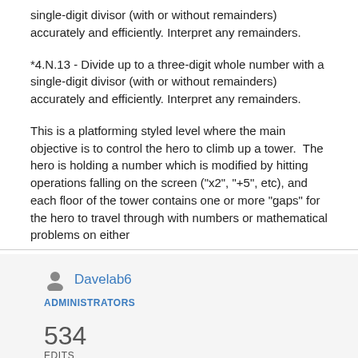single-digit divisor (with or without remainders) accurately and efficiently. Interpret any remainders.
*4.N.13 - Divide up to a three-digit whole number with a single-digit divisor (with or without remainders) accurately and efficiently. Interpret any remainders.
This is a platforming styled level where the main objective is to control the hero to climb up a tower.  The hero is holding a number which is modified by hitting operations falling on the screen ("x2", "+5", etc), and each floor of the tower contains one or more "gaps" for the hero to travel through with numbers or mathematical problems on either
Davelab6
ADMINISTRATORS
534
EDITS